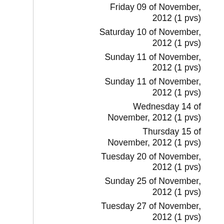Friday 09 of November, 2012 (1 pvs)
Saturday 10 of November, 2012 (1 pvs)
Sunday 11 of November, 2012 (1 pvs)
Sunday 11 of November, 2012 (1 pvs)
Wednesday 14 of November, 2012 (1 pvs)
Thursday 15 of November, 2012 (1 pvs)
Tuesday 20 of November, 2012 (1 pvs)
Sunday 25 of November, 2012 (1 pvs)
Tuesday 27 of November, 2012 (1 pvs)
Thursday 29 of